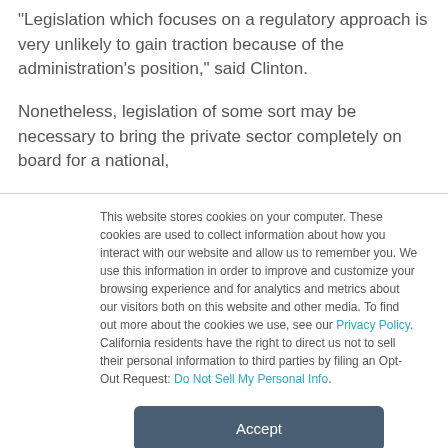“Legislation which focuses on a regulatory approach is very unlikely to gain traction because of the administration’s position,” said Clinton.
Nonetheless, legislation of some sort may be necessary to bring the private sector completely on board for a national,
This website stores cookies on your computer. These cookies are used to collect information about how you interact with our website and allow us to remember you. We use this information in order to improve and customize your browsing experience and for analytics and metrics about our visitors both on this website and other media. To find out more about the cookies we use, see our Privacy Policy. California residents have the right to direct us not to sell their personal information to third parties by filing an Opt-Out Request: Do Not Sell My Personal Info.